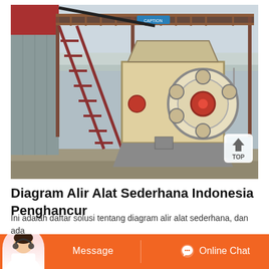[Figure (photo): Outdoor photograph of an industrial jaw crusher machine with a large flywheel (cream/white colored with circular holes and red center hub), mounted on a steel frame structure with metal stairs/ladder on the left side and an elevated platform with railings on top. A red building/silo is visible on the left. Background shows bare winter trees and overcast sky. A blue sign is visible on the upper platform.]
Diagram Alir Alat Sederhana Indonesia Penghancur
Ini adalah daftar solusi tentang diagram alir alat sederhana, dan ada t…
[Figure (screenshot): Orange bottom navigation bar with a customer service agent photo on the left, a Message button in the center-left, and an Online Chat button with headset icon on the right.]